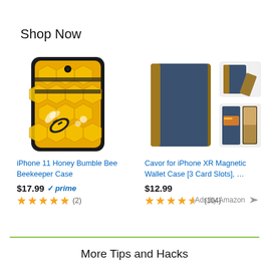Shop Now
[Figure (photo): iPhone 11 Honey Bumble Bee Beekeeper Case product image - yellow honeycomb and bee pattern phone case]
iPhone 11 Honey Bumble Bee Beekeeper Case
$17.99 ✓prime
★★★★★ (2)
[Figure (photo): Cavor for iPhone XR Magnetic Wallet Case product images - navy blue and tan leather wallet case shown from multiple angles]
Cavor for iPhone XR Magnetic Wallet Case [3 Card Slots], …
$12.99
★★★★½ (104)
Ads by Amazon ▷
More Tips and Hacks